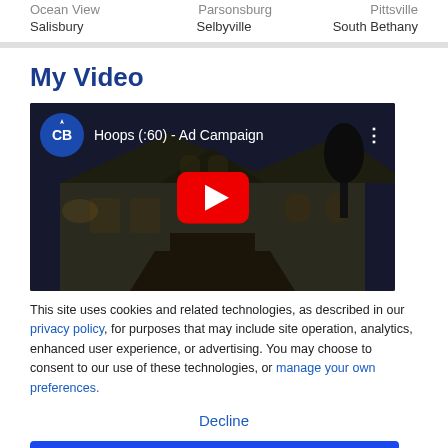Ocean View   Parsonsburg   Pittsville
Salisbury   Selbyville   South Bethany
My Video
[Figure (screenshot): YouTube video thumbnail showing 'Hoops (:60) - Ad Campaign' with Coldwell Banker logo, a house at night, and a red play button overlay.]
This site uses cookies and related technologies, as described in our privacy policy, for purposes that may include site operation, analytics, enhanced user experience, or advertising. You may choose to consent to our use of these technologies, or manage your own preferences.
Decline
Accept